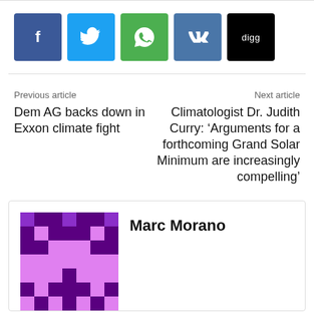[Figure (other): Social share buttons: Facebook (blue), Twitter (cyan), WhatsApp (green), VK (blue), Digg (black)]
Previous article
Dem AG backs down in Exxon climate fight
Next article
Climatologist Dr. Judith Curry: ‘Arguments for a forthcoming Grand Solar Minimum are increasingly compelling’
[Figure (illustration): Pixel art avatar of Marc Morano in purple tones]
Marc Morano